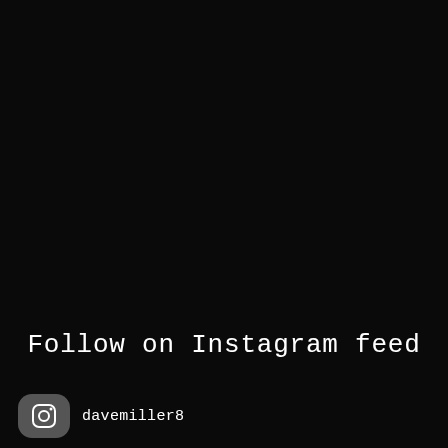[Figure (photo): Dark/black background image, nearly entirely black with subtle texture]
Follow on Instagram feed
davemiller8